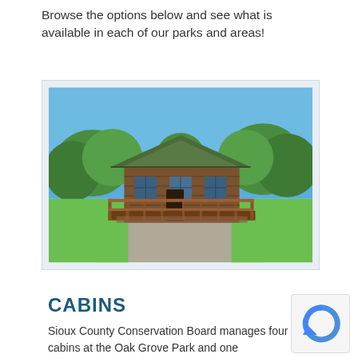Browse the options below and see what is available in each of our parks and areas!
[Figure (photo): A wooden cabin with a covered front porch and railing, surrounded by green grass and trees under a blue sky. A gravel path is visible in the foreground.]
CABINS
Sioux County Conservation Board manages four cabins at the Oak Grove Park and one